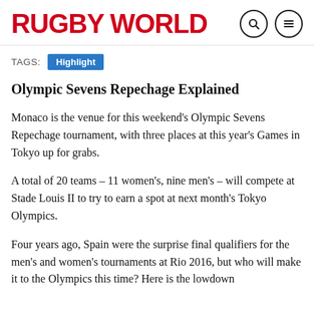RUGBY WORLD
TAGS: Highlight
Olympic Sevens Repechage Explained
Monaco is the venue for this weekend's Olympic Sevens Repechage tournament, with three places at this year's Games in Tokyo up for grabs.
A total of 20 teams – 11 women's, nine men's – will compete at Stade Louis II to try to earn a spot at next month's Tokyo Olympics.
Four years ago, Spain were the surprise final qualifiers for the men's and women's tournaments at Rio 2016, but who will make it to the Olympics this time? Here is the lowdown